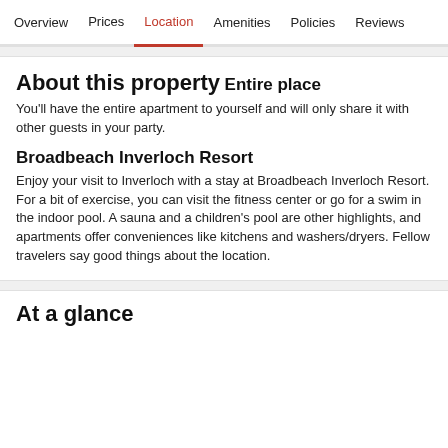Overview  Prices  Location  Amenities  Policies  Reviews
About this property
Entire place
You'll have the entire apartment to yourself and will only share it with other guests in your party.
Broadbeach Inverloch Resort
Enjoy your visit to Inverloch with a stay at Broadbeach Inverloch Resort. For a bit of exercise, you can visit the fitness center or go for a swim in the indoor pool. A sauna and a children's pool are other highlights, and apartments offer conveniences like kitchens and washers/dryers. Fellow travelers say good things about the location.
At a glance